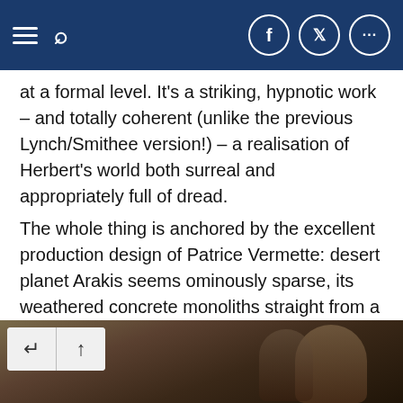Navigation bar with hamburger menu, search icon, Facebook, Twitter, and more icons
at a formal level. It's a striking, hypnotic work – and totally coherent (unlike the previous Lynch/Smithee version!) – a realisation of Herbert's world both surreal and appropriately full of dread.
The whole thing is anchored by the excellent production design of Patrice Vermette: desert planet Arakis seems ominously sparse, its weathered concrete monoliths straight from a deranged modernist's dream. The sound design is also first rate (as is Hans Zimmer's score, perfect as usual), and the combination of the surreal images and intense sounds creates a wholly immersive cinematic experience.
[Figure (photo): A dark cinematic image with two overlaid navigation buttons (back arrow and up arrow) in the bottom portion of the page.]